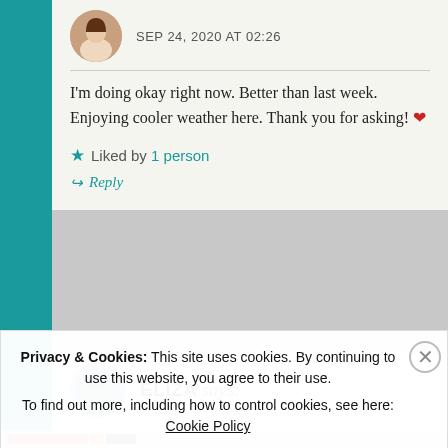SEP 24, 2020 AT 02:26
I'm doing okay right now. Better than last week. Enjoying cooler weather here. Thank you for asking! ❤
Liked by 1 person
Reply
ELIZA says:
Privacy & Cookies: This site uses cookies. By continuing to use this website, you agree to their use. To find out more, including how to control cookies, see here: Cookie Policy
Close and accept